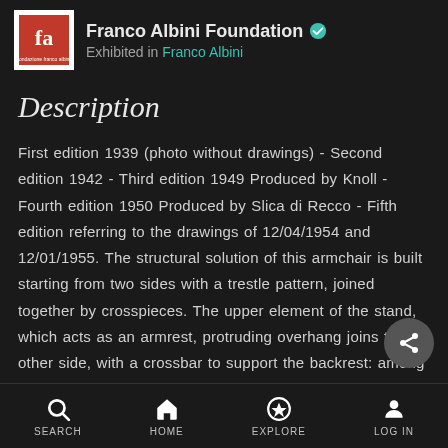Franco Albini Foundation ✓ Exhibited in Franco Albini
Description
First edition 1939 (photo without drawings) - Second edition 1942 - Third edition 1949 Produced by Knoll - Fourth edition 1950 Produced by Slica di Recco - Fifth edition referring to the drawings of 12/04/1954 and 12/01/1955. The structural solution of this armchair is built starting from two sides with a trestle pattern, joined together by crosspieces. The upper element of the stand, which acts as an armrest, protruding overhang joins the other side, with a crossbar to support the backrest: among the other crosspieces
SEARCH  HOME  EXPLORE  LOG IN